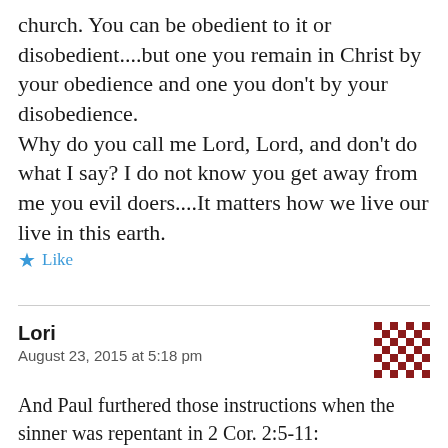church. You can be obedient to it or disobedient....but one you remain in Christ by your obedience and one you don't by your disobedience.
Why do you call me Lord, Lord, and don't do what I say? I do not know you get away from me you evil doers....It matters how we live our live in this earth.
Like
Lori
August 23, 2015 at 5:18 pm
And Paul furthered those instructions when the sinner was repentant in 2 Cor. 2:5-11:
“5 Now if anyone has caused pain, he has caused it not to me, but in some measure-not to put it too severely- to all of you.